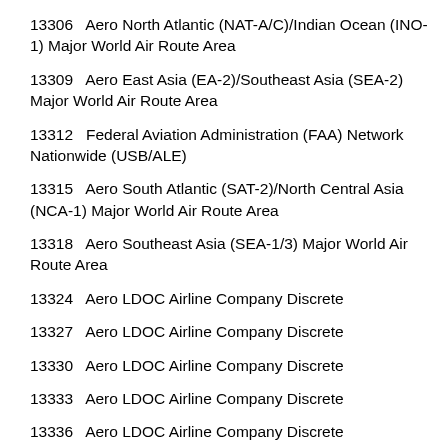13306   Aero North Atlantic (NAT-A/C)/Indian Ocean (INO-1) Major World Air Route Area
13309   Aero East Asia (EA-2)/Southeast Asia (SEA-2) Major World Air Route Area
13312   Federal Aviation Administration (FAA) Network Nationwide (USB/ALE)
13315   Aero South Atlantic (SAT-2)/North Central Asia (NCA-1) Major World Air Route Area
13318   Aero Southeast Asia (SEA-1/3) Major World Air Route Area
13324   Aero LDOC Airline Company Discrete
13327   Aero LDOC Airline Company Discrete
13330   Aero LDOC Airline Company Discrete
13333   Aero LDOC Airline Company Discrete
13336   Aero LDOC Airline Company Discrete
13339   Aero North Pacific (NP-3/4) Major World Air Route Area/Aero